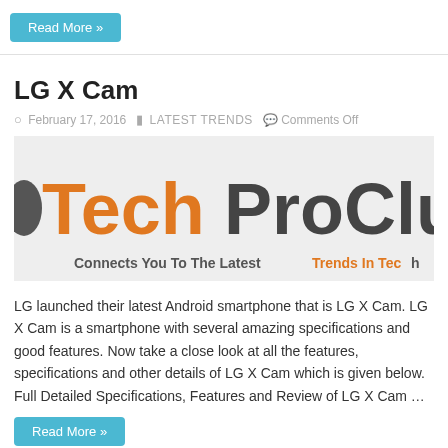Read More »
LG X Cam
February 17, 2016   LATEST TRENDS   Comments Off
[Figure (logo): TechProClub logo with tagline 'Connects You To The Latest Trends In Tech']
LG launched their latest Android smartphone that is LG X Cam. LG X Cam is a smartphone with several amazing specifications and good features. Now take a close look at all the features, specifications and other details of LG X Cam which is given below. Full Detailed Specifications, Features and Review of LG X Cam …
Read More »